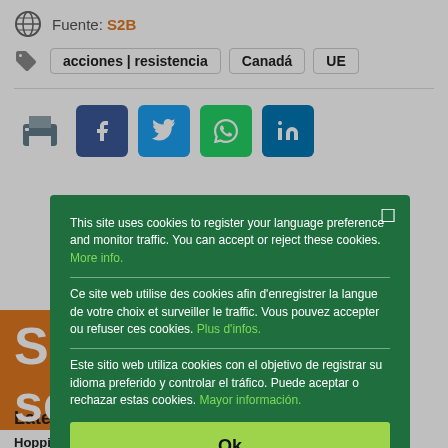Fuente: S2B
acciones | resistencia   Canadá   UE
[Figure (infographic): Social share buttons: print, Facebook, Twitter, WhatsApp, LinkedIn]
[Figure (screenshot): Cookie consent modal overlay with trilingual text (English, French, Spanish) and Ok button on dark green background]
Late
Hopping the gains from trade in Mexico